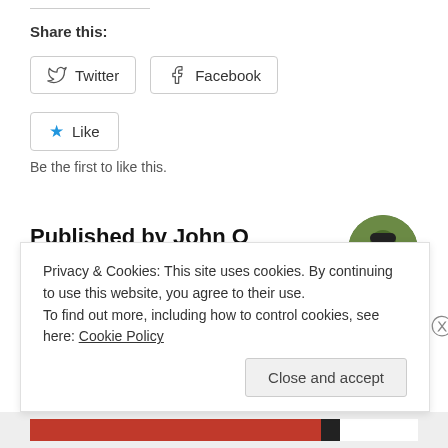Share this:
[Figure (screenshot): Twitter and Facebook share buttons]
[Figure (screenshot): Like button with star icon]
Be the first to like this.
Published by John O Sanford
Privacy & Cookies: This site uses cookies. By continuing to use this website, you agree to their use.
To find out more, including how to control cookies, see here: Cookie Policy
Close and accept